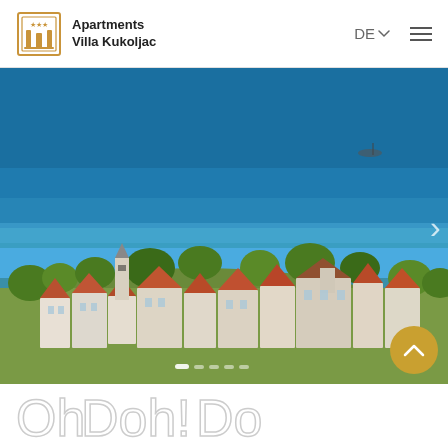Apartments Villa Kukoljac
[Figure (photo): Aerial view of a coastal town with red-roofed white buildings, surrounded by lush green trees, with a blue sea in the background. A slider interface with navigation arrows and dot indicators is overlaid.]